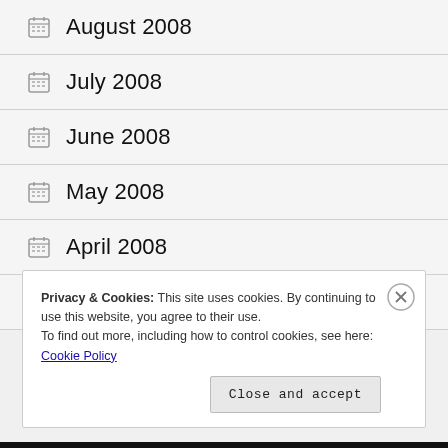August 2008
July 2008
June 2008
May 2008
April 2008
March 2008
Privacy & Cookies: This site uses cookies. By continuing to use this website, you agree to their use. To find out more, including how to control cookies, see here: Cookie Policy
Close and accept